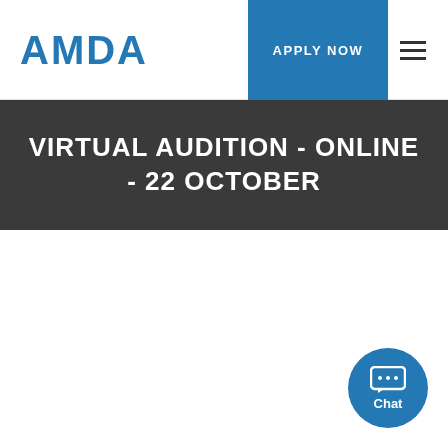AMDA | APPLY NOW
VIRTUAL AUDITION - ONLINE - 22 OCTOBER
[Figure (other): Chat button icon at bottom right corner]